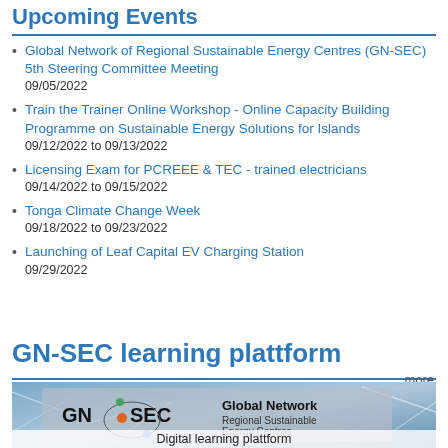Upcoming Events
Global Network of Regional Sustainable Energy Centres (GN-SEC) 5th Steering Committee Meeting
09/05/2022
Train the Trainer Online Workshop - Online Capacity Building Programme on Sustainable Energy Solutions for Islands
09/12/2022 to 09/13/2022
Licensing Exam for PCREEE & TEC - trained electricians
09/14/2022 to 09/15/2022
Tonga Climate Change Week
09/18/2022 to 09/23/2022
Launching of Leaf Capital EV Charging Station
09/29/2022
GN-SEC learning plattform
more
[Figure (photo): GN-SEC (Global Network Regional Sustainable Energy Centres) logo and branding image with abstract blue network background and text 'Digital learning plattform' at the bottom]